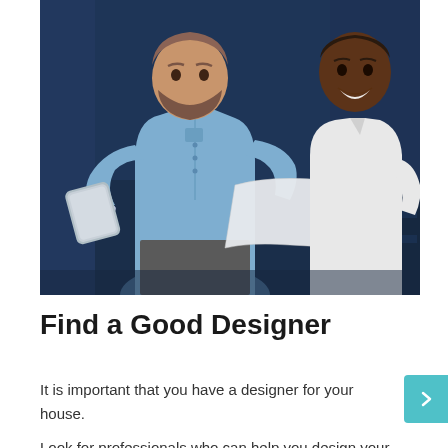[Figure (photo): Two men looking at architectural blueprints/plans. One man wearing a light blue shirt holds rolled blueprints, the other wearing a white shirt holds an open large sheet. Navy blue background suggesting a professional office or design studio setting.]
Find a Good Designer
It is important that you have a designer for your house. Look for professionals who can help you design your